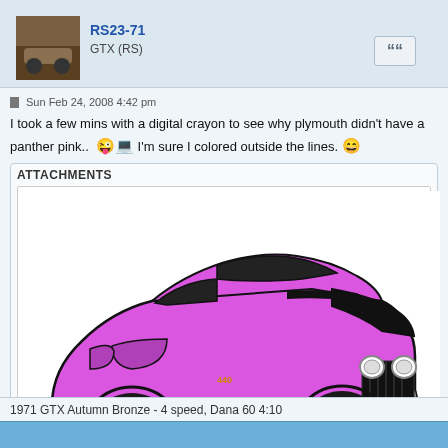RS23-71
GTX (RS)
Sun Feb 24, 2008 4:42 pm
I took a few mins with a digital crayon to see why plymouth didn't have a panther pink..  I'm sure I colored outside the lines.
ATTACHMENTS
[Figure (illustration): Digital illustration of a Plymouth Road Runner muscle car colored in panther pink/purple, with black interior and details, facing right on white background.]
blank_road_runner.jpg (45.07 KiB) Viewed 25458 times
1971 GTX Autumn Bronze - 4 speed, Dana 60 4:10